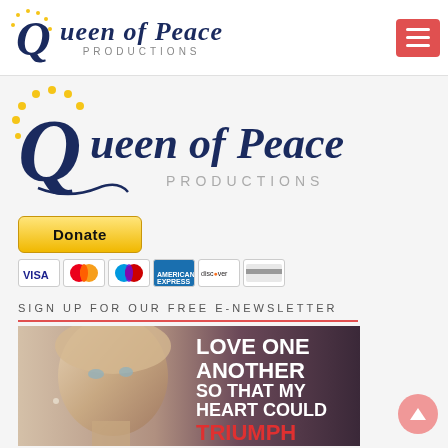Queen of Peace PRODUCTIONS
[Figure (logo): Queen of Peace Productions large logo with decorative script and yellow stars]
[Figure (other): PayPal Donate button with payment card icons (Visa, Mastercard, Amex, Discover)]
SIGN UP FOR OUR FREE E-NEWSLETTER
[Figure (photo): Photo of a woman looking upward with overlaid text: LOVE ONE ANOTHER SO THAT MY HEART COULD TRIUMPH]